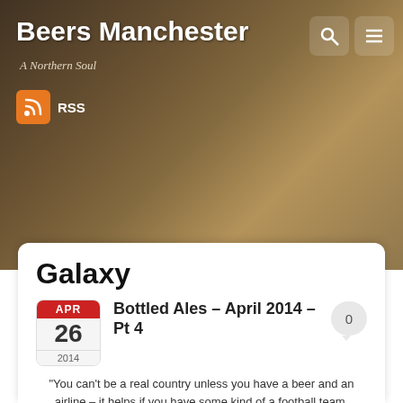Beers Manchester
A Northern Soul
RSS
Galaxy
Bottled Ales – April 2014 – Pt 4
"You can't be a real country unless you have a beer and an airline – it helps if you have some kind of a football team,

or some nuclear weapons, but at the very least you need a beer."
Frank Zappa

(Nicked without ceremony from the excellent website www.aswiftone.com)

"Between lightning and thunder, 3 seconds the gap. A warm candle glow keeps this wood room from black